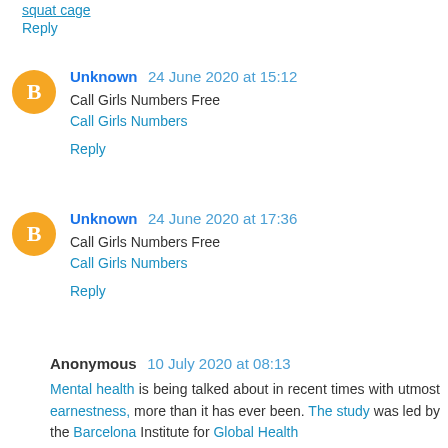squat cage
Reply
Unknown  24 June 2020 at 15:12
Call Girls Numbers Free
Call Girls Numbers
Reply
Unknown  24 June 2020 at 17:36
Call Girls Numbers Free
Call Girls Numbers
Reply
Anonymous  10 July 2020 at 08:13
Mental health is being talked about in recent times with utmost earnestness, more than it has ever been. The study was led by the Barcelona Institute for Global Health